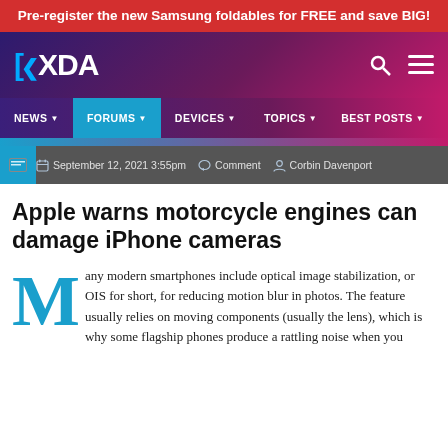Pre-register the new Samsung foldables for FREE and save BIG!
[Figure (logo): XDA Developers logo with navigation bar including NEWS, FORUMS, DEVICES, TOPICS, BEST POSTS]
September 12, 2021 3:55pm  Comment  Corbin Davenport
Apple warns motorcycle engines can damage iPhone cameras
Many modern smartphones include optical image stabilization, or OIS for short, for reducing motion blur in photos. The feature usually relies on moving components (usually the lens), which is why some flagship phones produce a rattling noise when you